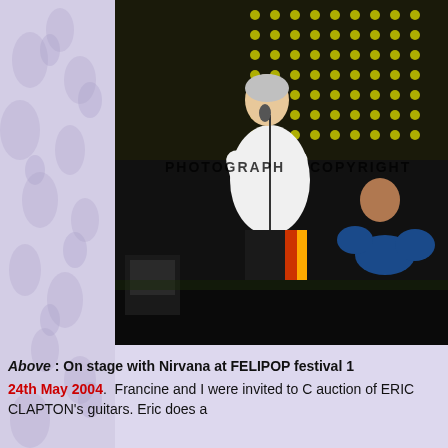[Figure (photo): A man in a white shirt singing into a microphone on stage at FELIPOP festival. A drummer is visible in the background behind a blue drum kit. The background shows a large LED or dot-matrix display board. The photo has 'PHOTOGRAPH COPYRIGHT' watermark text overlaid.]
Above : On stage with Nirvana at FELIPOP festival 1
24th May 2004. Francine and I were invited to C auction of ERIC CLAPTON's guitars. Eric does a